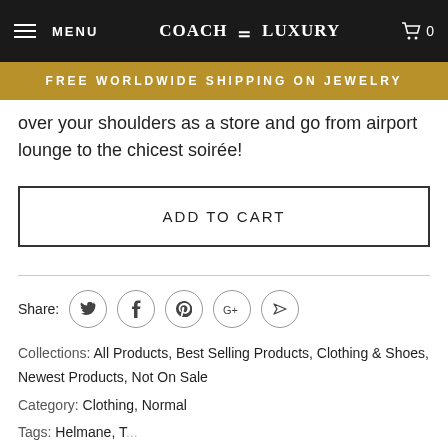MENU | COACH & LUXURY | 0
FREE WORLDWIDE SHIPPING ON JEWELRY
over your shoulders as a store and go from airport lounge to the chicest soirée!
ADD TO CART
Share:
Collections: All Products, Best Selling Products, Clothing & Shoes, Newest Products, Not On Sale
Category: Clothing, Normal
Tags: Helmane, T...